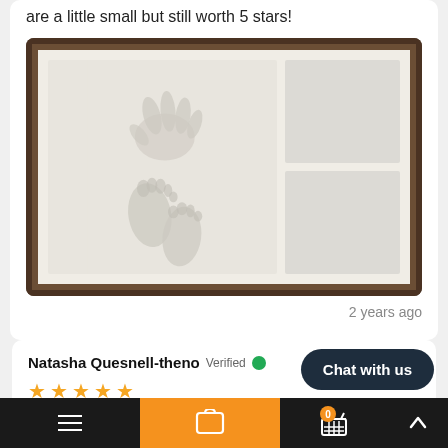are a little small but still worth 5 stars!
[Figure (photo): A wooden framed shadow box with white matting containing a clay imprint of a baby's hand and feet on the left panel, and two empty photo slots on the right side.]
2 years ago
Natasha Quesnell-theno Verified
★★★★★